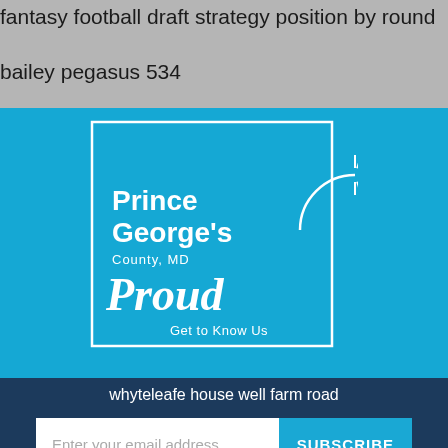fantasy football draft strategy position by round
bailey pegasus 534
[Figure (logo): Prince George's County MD Proud - Get to Know Us logo, white text on blue background with sun graphic, inside white border rectangle]
whyteleafe house well farm road
Enter your email address
SUBSCRIBE
No Thanks
Remind Me Later
8151 15th Avenue
Langley Park, MD 20783
240.491.5763 (call to make an appointment)*
Capitol Heights, MD 20743
301.333-4440 (call to make an appointment)